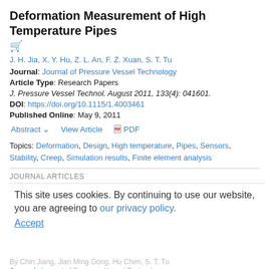Deformation Measurement of High Temperature Pipes
J. H. Jia, X. Y. Hu, Z. L. An, F. Z. Xuan, S. T. Tu
Journal: Journal of Pressure Vessel Technology
Article Type: Research Papers
J. Pressure Vessel Technol. August 2011, 133(4): 041601.
DOI: https://doi.org/10.1115/1.4003461
Published Online: May 9, 2011
Abstract  View Article  PDF
Topics: Deformation, Design, High temperature, Pipes, Sensors, Stability, Creep, Simulation results, Finite element analysis
JOURNAL ARTICLES
Finite Element Analysis of the Effect of Brazed Residual Stress on Creep for Stainless Steel Plate-Fin Structure
This site uses cookies. By continuing to use our website, you are agreeing to our privacy policy.
Accept
Journal: Journal of Pressure Vessel Technology